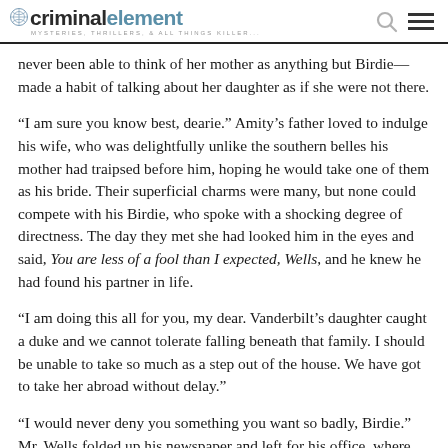criminal element — MYSTERIES, THRILLERS, & ALL THINGS KILLER...
never been able to think of her mother as anything but Birdie—made a habit of talking about her daughter as if she were not there.
“I am sure you know best, dearie.” Amity’s father loved to indulge his wife, who was delightfully unlike the southern belles his mother had traipsed before him, hoping he would take one of them as his bride. Their superficial charms were many, but none could compete with his Birdie, who spoke with a shocking degree of directness. The day they met she had looked him in the eyes and said, You are less of a fool than I expected, Wells, and he knew he had found his partner in life.
“I am doing this all for you, my dear. Vanderbilt’s daughter caught a duke and we cannot tolerate falling beneath that family. I should be unable to take so much as a step out of the house. We have got to take her abroad without delay.”
“I would never deny you something you want so badly, Birdie.” Mr. Wells folded up his newspaper and left for his office, where,